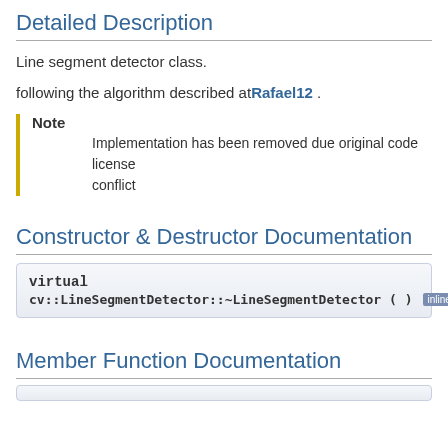Detailed Description
Line segment detector class.
following the algorithm described at Rafael12 .
Note
Implementation has been removed due original code license conflict
Constructor & Destructor Documentation
virtual cv::LineSegmentDetector::~LineSegmentDetector ( ) inline virt
Member Function Documentation